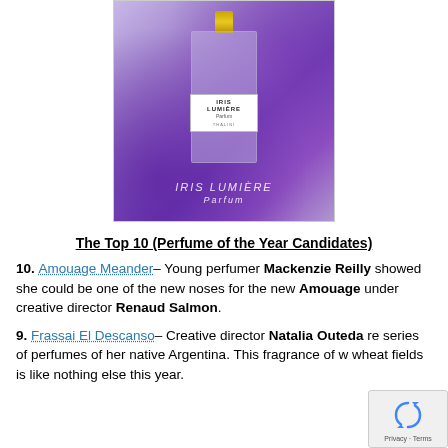[Figure (photo): A perfume bottle labeled 'Iris Lumière Parfum Thalini' surrounded by deep purple iris flower petals on a light lavender background. A watermark reads 'IRIS LUMIÈRE Parfum' at the bottom.]
The Top 10 (Perfume of the Year Candidates)
10. Amouage Meander – Young perfumer Mackenzie Reilly showed she could be one of the new noses for the new Amouage under creative director Renaud Salmon.
9. Frassai El Descanso – Creative director Natalia Outeda re[leased a] series of perfumes of her native Argentina. This fragrance of w[heatfields,] wheat fields is like nothing else this year.